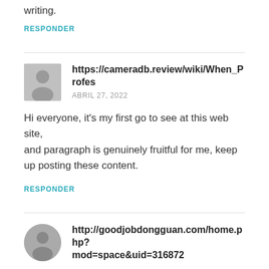writing.
RESPONDER
https://cameradb.review/wiki/When_Profes
ABRIL 27, 2022
Hi everyone, it’s my first go to see at this web site,
and paragraph is genuinely fruitful for me, keep up posting these content.
RESPONDER
http://goodjobdongguan.com/home.php?
mod=space&uid=316872